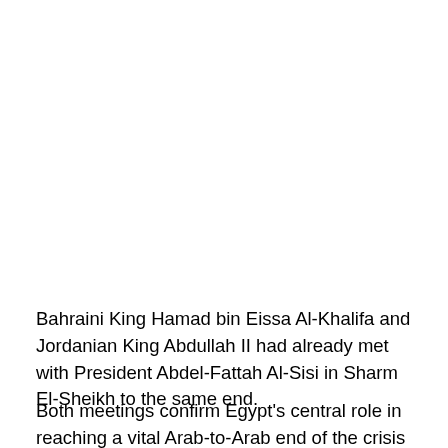Bahraini King Hamad bin Eissa Al-Khalifa and Jordanian King Abdullah II had already met with President Abdel-Fattah Al-Sisi in Sharm El-Sheikh to the same end.
Both meetings confirm Egypt's central role in reaching a vital Arab-to-Arab end of the crisis participating with J...